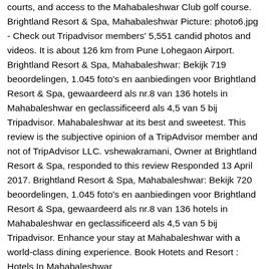courts, and access to the Mahabaleshwar Club golf course. Brightland Resort & Spa, Mahabaleshwar Picture: photo6.jpg - Check out Tripadvisor members' 5,551 candid photos and videos. It is about 126 km from Pune Lohegaon Airport. Brightland Resort & Spa, Mahabaleshwar: Bekijk 719 beoordelingen, 1.045 foto's en aanbiedingen voor Brightland Resort & Spa, gewaardeerd als nr.8 van 136 hotels in Mahabaleshwar en geclassificeerd als 4,5 van 5 bij Tripadvisor. Mahabaleshwar at its best and sweetest. This review is the subjective opinion of a TripAdvisor member and not of TripAdvisor LLC. vshewakramani, Owner at Brightland Resort & Spa, responded to this review Responded 13 April 2017. Brightland Resort & Spa, Mahabaleshwar: Bekijk 720 beoordelingen, 1.045 foto's en aanbiedingen voor Brightland Resort & Spa, gewaardeerd als nr.8 van 136 hotels in Mahabaleshwar en geclassificeerd als 4,5 van 5 bij Tripadvisor. Enhance your stay at Mahabaleshwar with a world-class dining experience. Book Hotets and Resort : Hotels In Mahabaleshwar